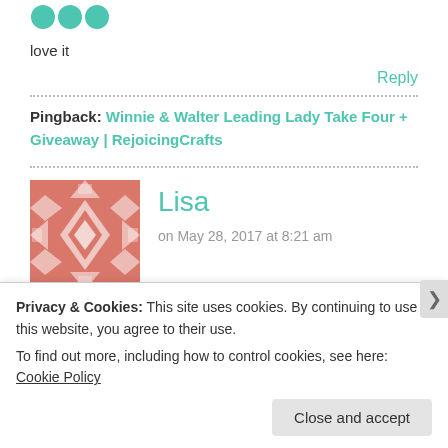[Figure (illustration): Three small teal/green circular avatar icons at top left]
love it
Reply
Pingback: Winnie & Walter Leading Lady Take Four + Giveaway | RejoicingCrafts
[Figure (illustration): Pink/salmon quilt-pattern square avatar for user Lisa]
Lisa
on May 28, 2017 at 8:21 am
Privacy & Cookies: This site uses cookies. By continuing to use this website, you agree to their use.
To find out more, including how to control cookies, see here: Cookie Policy
Close and accept